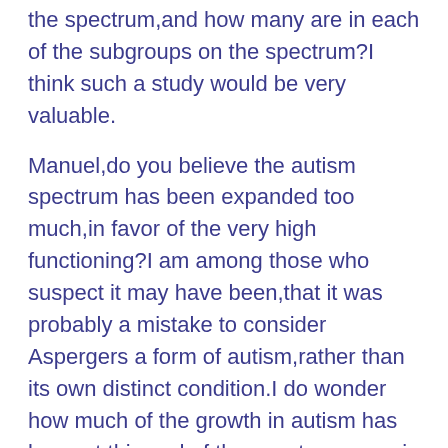the spectrum,and how many are in each of the subgroups on the spectrum?I think such a study would be very valuable.
Manuel,do you believe the autism spectrum has been expanded too much,in favor of the very high functioning?I am among those who suspect it may have been,that it was probably a mistake to consider Aspergers a form of autism,rather than its own distinct condition.I do wonder how much of the growth in autism has been at this end of the spectrum,even in children.I would argue that people like Ari Ne'eman,or your friend John Elder Robison,may rightfully deserve DSM diagnosis,but maybe it ought to have been something other than autism.My criticism isn't so much with individual people,like this,who have